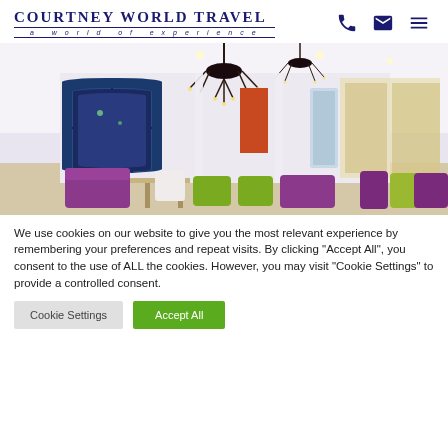COURTNEY WORLD TRAVEL — a world of experience
[Figure (photo): Luxury hotel lobby interior with high ceilings, ornate chandeliers, purple and green upholstered furniture, large arched windows with evening outdoor view, white walls and columns.]
We use cookies on our website to give you the most relevant experience by remembering your preferences and repeat visits. By clicking "Accept All", you consent to the use of ALL the cookies. However, you may visit "Cookie Settings" to provide a controlled consent.
Cookie Settings | Accept All